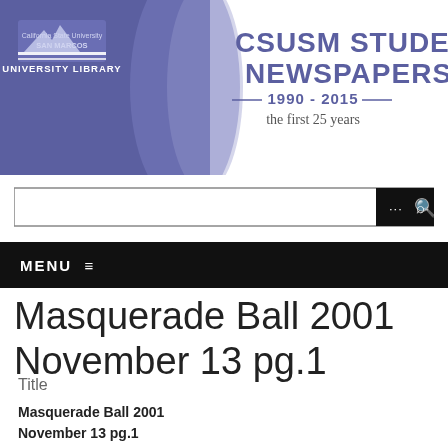[Figure (logo): CSUSM University Library logo with purple banner and text 'California State University San Marcos University Library' alongside 'CSUSM Student Newspapers 1990-2015 the first 25 years']
[Figure (screenshot): Search bar with ellipsis and magnifying glass icon on dark background]
MENU ≡
Masquerade Ball 2001 November 13 pg.1
Title
Masquerade Ball 2001
November 13 pg.1